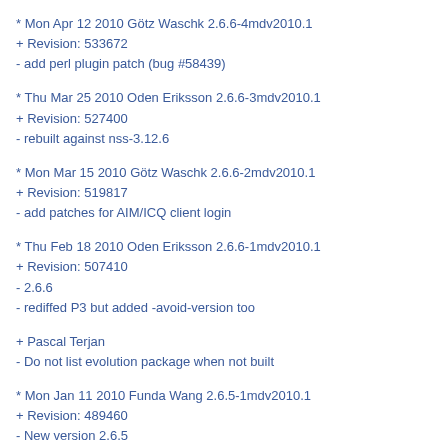* Mon Apr 12 2010 Götz Waschk 2.6.6-4mdv2010.1
+ Revision: 533672
- add perl plugin patch (bug #58439)
* Thu Mar 25 2010 Oden Eriksson 2.6.6-3mdv2010.1
+ Revision: 527400
- rebuilt against nss-3.12.6
* Mon Mar 15 2010 Götz Waschk 2.6.6-2mdv2010.1
+ Revision: 519817
- add patches for AIM/ICQ client login
* Thu Feb 18 2010 Oden Eriksson 2.6.6-1mdv2010.1
+ Revision: 507410
- 2.6.6
- rediffed P3 but added -avoid-version too
+ Pascal Terjan
- Do not list evolution package when not built
* Mon Jan 11 2010 Funda Wang 2.6.5-1mdv2010.1
+ Revision: 489460
- New version 2.6.5
* Sat Jan 02 2010 Götz Waschk 2.6.4-3mdv2010.1
+ Revision: 485012
- don't build evolution plugin on Cooker